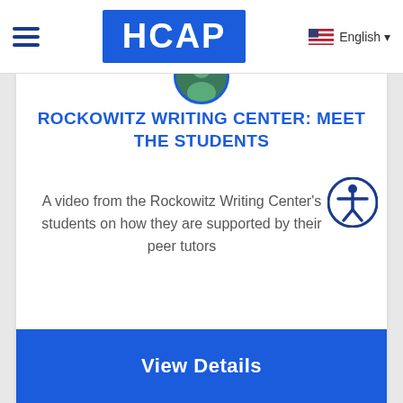HCAP — English
ROCKOWITZ WRITING CENTER: MEET THE STUDENTS
A video from the Rockowitz Writing Center's students on how they are supported by their peer tutors
View Details